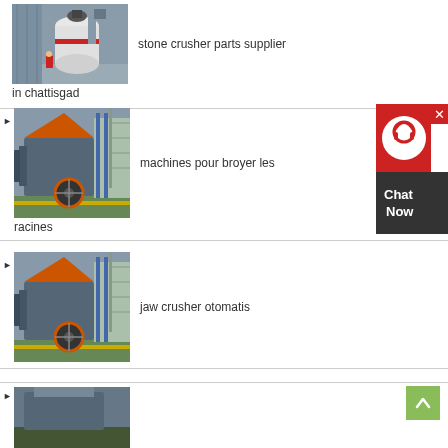[Figure (photo): Industrial stone crusher / grinding mill machine in a yard, white cylindrical mill tower with red stripe]
stone crusher parts supplier in chattisgad
[Figure (photo): Impact crusher machine on factory floor with orange and gray body, industrial warehouse setting]
machines pour broyer les racines
[Figure (photo): Impact crusher machine on factory floor with orange and gray body, industrial warehouse setting]
jaw crusher otomatis
[Figure (photo): Bottom of another industrial machine, partially visible]
[Figure (other): Chat Now widget with customer service icon]